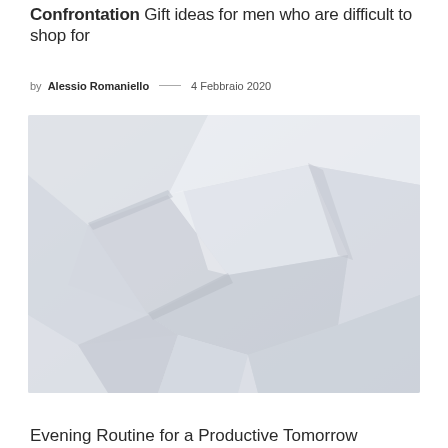Confrontation Gift ideas for men who are difficult to shop for
by Alessio Romaniello — 4 Febbraio 2020
[Figure (photo): Abstract photo of crumpled or folded white paper with soft shadows creating geometric angular shapes]
Evening Routine for a Productive Tomorrow